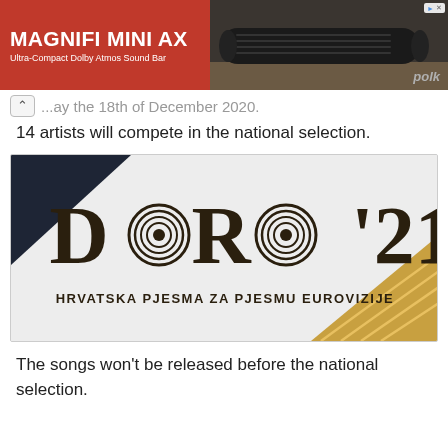[Figure (photo): Advertisement banner for Polk Audio MagniFi Mini AX Ultra-Compact Dolby Atmos Sound Bar. Left side has red background with white text; right side shows the product on a dark background with 'polk' branding.]
…ay the 18th of December 2020.
14 artists will compete in the national selection.
[Figure (logo): DORA '21 logo — stylized letters D, O, R, A with concentric circle motifs, followed by '21. Subtitle reads: HRVATSKA PJESMA ZA PJESMU EUROVIZIJE. Light grey background with dark navy triangle top-left and gold diagonal pattern bottom-right.]
The songs won't be released before the national selection.